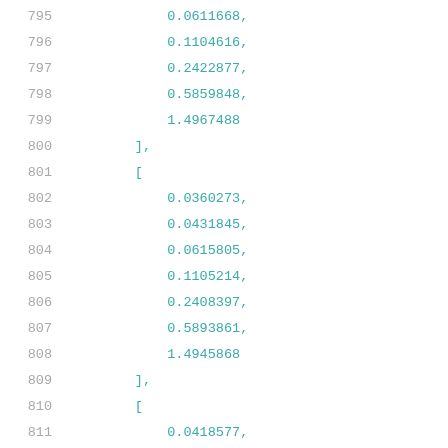795    0.0611668,
796    0.1104616,
797    0.2422877,
798    0.5859848,
799    1.4967488
800    ],
801    [
802    0.0360273,
803    0.0431845,
804    0.0615805,
805    0.1105214,
806    0.2408397,
807    0.5893861,
808    1.4945868
809    ],
810    [
811    0.0418577,
812    0.0494213,
813    0.0668694,
814    0.1139537,
815    0.241694,